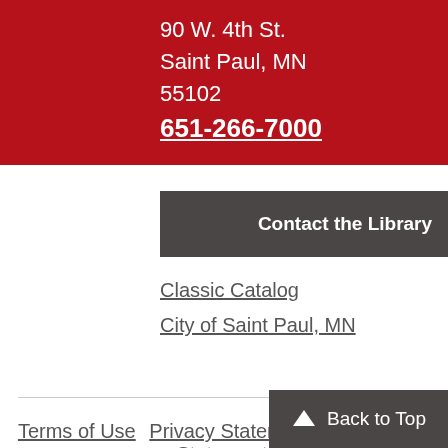90 W. 4th St.
Saint Paul, MN
55102
651-266-7000
Contact the Library
Classic Catalog
City of Saint Paul, MN
Terms of Use   Privacy Statement   Accessibility Statement
© 2022 Saint Paul Public Library
Back to Top